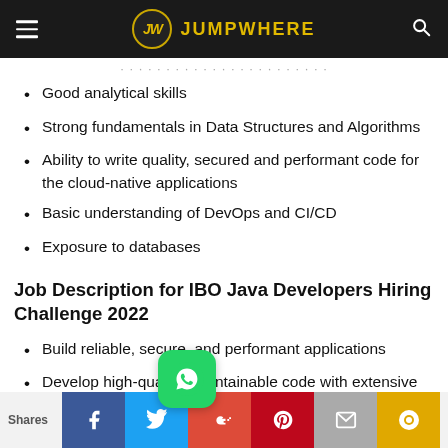JW JUMPWHERE
Good analytical skills
Strong fundamentals in Data Structures and Algorithms
Ability to write quality, secured and performant code for the cloud-native applications
Basic understanding of DevOps and CI/CD
Exposure to databases
Job Description for IBO Java Developers Hiring Challenge 2022
Build reliable, secure, and performant applications
Develop high-quality, maintainable code with extensive test coverage
Shares